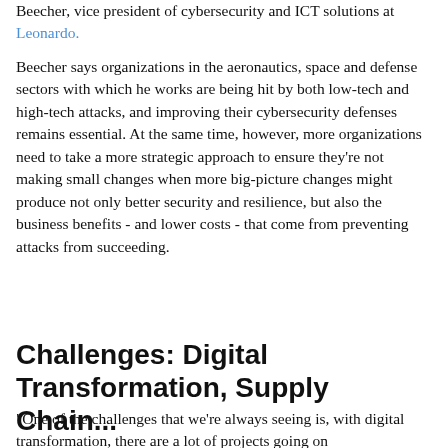Beecher, vice president of cybersecurity and ICT solutions at Leonardo.
Beecher says organizations in the aeronautics, space and defense sectors with which he works are being hit by both low-tech and high-tech attacks, and improving their cybersecurity defenses remains essential. At the same time, however, more organizations need to take a more strategic approach to ensure they're not making small changes when more big-picture changes might produce not only better security and resilience, but also the business benefits - and lower costs - that come from preventing attacks from succeeding.
Challenges: Digital Transformation, Supply Chain...
"One of the challenges that we're always seeing is, with digital transformation, there are a lot of projects going on
[Figure (other): Cookie consent overlay banner with text: 'Our website uses cookies. Cookies enable us to provide the best experience possible and help us understand how visitors use our website. By browsing cuinfosecurity.com, you agree to our use of cookies.' with a close (×) button.]